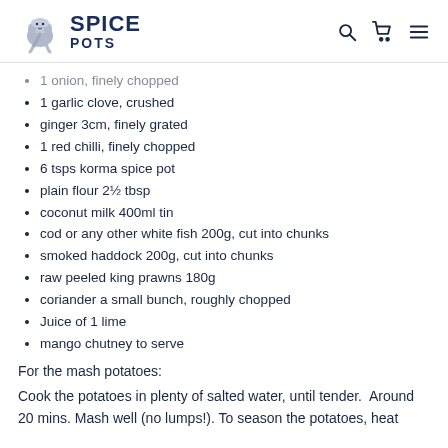SPICE POTS
1 onion, finely chopped
1 garlic clove, crushed
ginger 3cm, finely grated
1 red chilli, finely chopped
6 tsps korma spice pot
plain flour 2½ tbsp
coconut milk 400ml tin
cod or any other white fish 200g, cut into chunks
smoked haddock 200g, cut into chunks
raw peeled king prawns 180g
coriander a small bunch, roughly chopped
Juice of 1 lime
mango chutney to serve
For the mash potatoes:
Cook the potatoes in plenty of salted water, until tender.  Around 20 mins. Mash well (no lumps!). To season the potatoes, heat